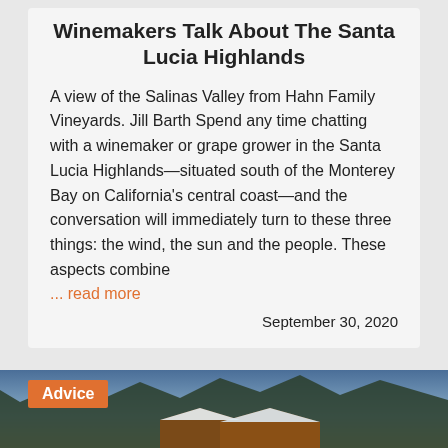Winemakers Talk About The Santa Lucia Highlands
A view of the Salinas Valley from Hahn Family Vineyards. Jill Barth Spend any time chatting with a winemaker or grape grower in the Santa Lucia Highlands—situated south of the Monterey Bay on California's central coast—and the conversation will immediately turn to these three things: the wind, the sun and the people. These aspects combine
... read more
September 30, 2020
[Figure (photo): Snowy mountain cabin scene with orange 'Advice' tag overlay in bottom left corner]